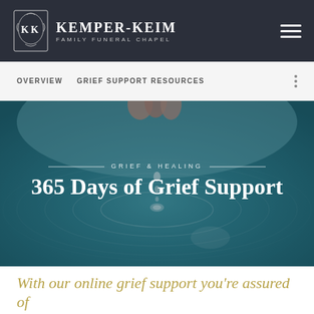KEMPER-KEIM FAMILY FUNERAL CHAPEL
OVERVIEW   GRIEF SUPPORT RESOURCES
[Figure (photo): Hero image showing water droplets creating ripples on a teal/blue water surface, with a hand visible at the top. Overlay text reads 'GRIEF & HEALING' and '365 Days of Grief Support'.]
With our online grief support you're assured of